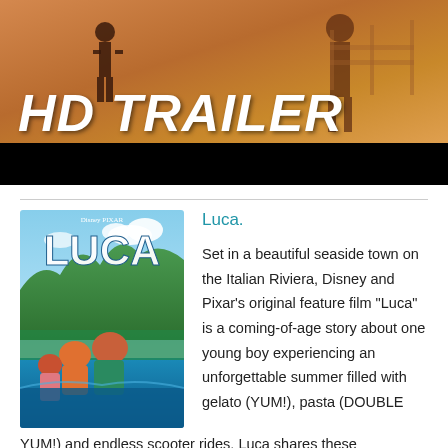[Figure (screenshot): HD TRAILER video thumbnail showing animated characters in a warm outdoor scene with black letterbox bar at bottom]
[Figure (illustration): Disney Pixar Luca movie poster showing animated characters at a colorful Italian seaside town]
Luca.
Set in a beautiful seaside town on the Italian Riviera, Disney and Pixar's original feature film “Luca” is a coming-of-age story about one young boy experiencing an unforgettable summer filled with gelato (YUM!), pasta (DOUBLE YUM!) and endless scooter rides. Luca shares these adventures with his newfound best friend, but all the fun is